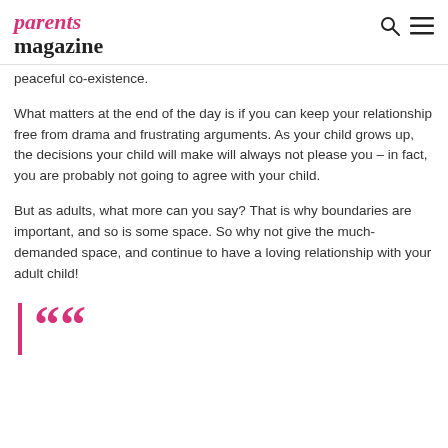parents magazine
peaceful co-existence.
What matters at the end of the day is if you can keep your relationship free from drama and frustrating arguments. As your child grows up, the decisions your child will make will always not please you – in fact, you are probably not going to agree with your child.
But as adults, what more can you say? That is why boundaries are important, and so is some space. So why not give the much-demanded space, and continue to have a loving relationship with your adult child!
““